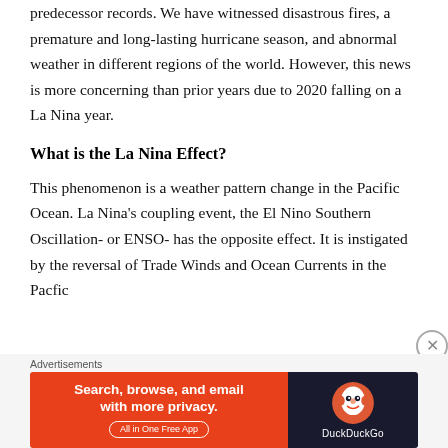predecessor records. We have witnessed disastrous fires, a premature and long-lasting hurricane season, and abnormal weather in different regions of the world. However, this news is more concerning than prior years due to 2020 falling on a La Nina year.
What is the La Nina Effect?
This phenomenon is a weather pattern change in the Pacific Ocean. La Nina's coupling event, the El Nino Southern Oscillation- or ENSO- has the opposite effect. It is instigated by the reversal of Trade Winds and Ocean Currents in the Pacific
[Figure (other): DuckDuckGo advertisement banner: orange left panel with text 'Search, browse, and email with more privacy. All in One Free App' and dark right panel with DuckDuckGo duck logo and brand name.]